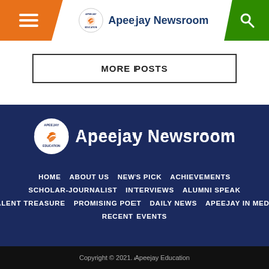Apeejay Newsroom
MORE POSTS
[Figure (logo): Apeejay Newsroom logo with bird icon in white circle on dark blue background, with large white text 'Apeejay Newsroom']
HOME
ABOUT US
NEWS PICK
ACHIEVEMENTS
SCHOLAR-JOURNALIST
INTERVIEWS
ALUMNI SPEAK
TALENT TREASURE
PROMISING POET
DAILY NEWS
APEEJAY IN MEDIA
RECENT EVENTS
Copyright © 2021. Apeejay Education